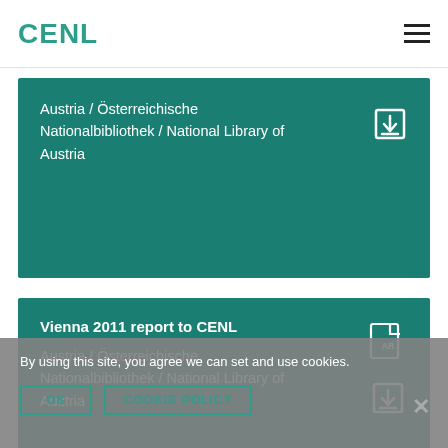CENL
Austria / Österreichische Nationalbibliothek / National Library of Austria
Vienna 2011 report to CENL
Austria / Österreichische Nationalbibliothek / National Library of Austria
By using this site, you agree we can set and use cookies.
Vienna 2010 report to CENL